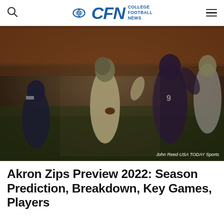CFN College Football News
[Figure (photo): Football game action photo showing players from two teams in a night game. One player in a white/gold uniform is carrying the ball while players in navy and orange uniforms defend. Photo credit: John Reed-USA TODAY Sports]
John Reed-USA TODAY Sports
Akron Zips Preview 2022: Season Prediction, Breakdown, Key Games, Players